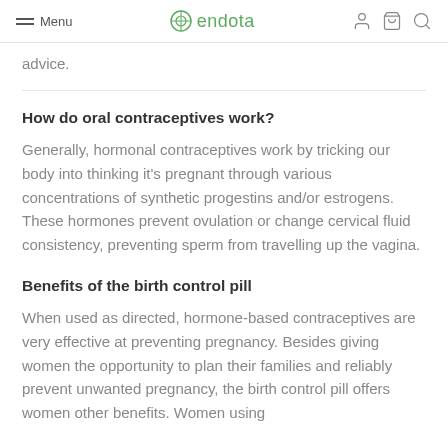Menu | endota
advice.
How do oral contraceptives work?
Generally, hormonal contraceptives work by tricking our body into thinking it's pregnant through various concentrations of synthetic progestins and/or estrogens. These hormones prevent ovulation or change cervical fluid consistency, preventing sperm from travelling up the vagina.
Benefits of the birth control pill
When used as directed, hormone-based contraceptives are very effective at preventing pregnancy. Besides giving women the opportunity to plan their families and reliably prevent unwanted pregnancy, the birth control pill offers women other benefits. Women using